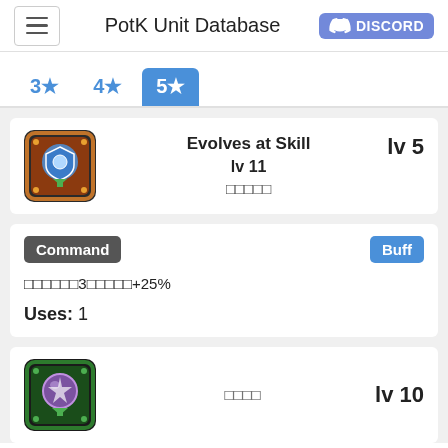PotK Unit Database  DISCORD
3★
4★
5★
[Figure (illustration): Skill icon with orange/red decorative border and a blue shield with green arrow]
Evolves at Skill  lv 5
lv 11
□□□□□
Command   Buff
□□□□□□3□□□□□+25%
Uses: 1
[Figure (illustration): Skill icon with green decorative border and a purple orb with green arrow]
□□□□  lv 10